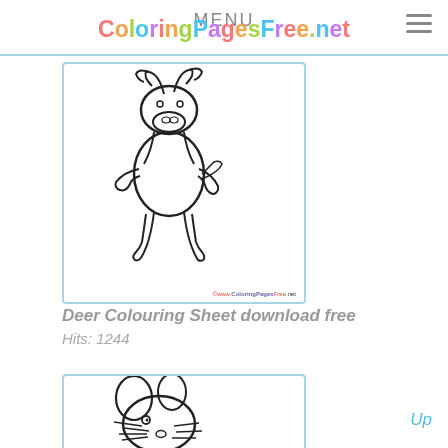ColoringPagesFree.net
[Figure (illustration): Cartoon deer/moose character standing on one leg, drawn in black and white line art style, suitable for coloring. Watermark at bottom: www.ColoringPagesFree.net]
Deer Colouring Sheet download free
Hits: 1244
[Figure (illustration): Cartoon mouse character drawn in black and white line art style, suitable for coloring. Showing head and upper body with prominent ears and whiskers.]